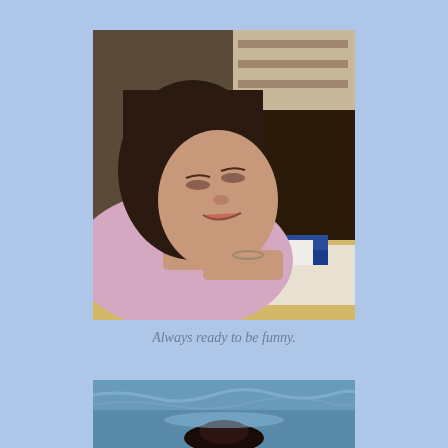[Figure (photo): A young girl with dark hair, wearing a pink short-sleeve top, sitting at a classroom desk with her head tilted back and eyes closed, appearing to be joking or being silly. She has a bracelet on her wrist and is holding something blue and white. Classroom shelves visible in background.]
Always ready to be funny.
[Figure (photo): Partial photo of a person in or near water, appearing to be swimming. The image is cropped and only the top portion is visible.]